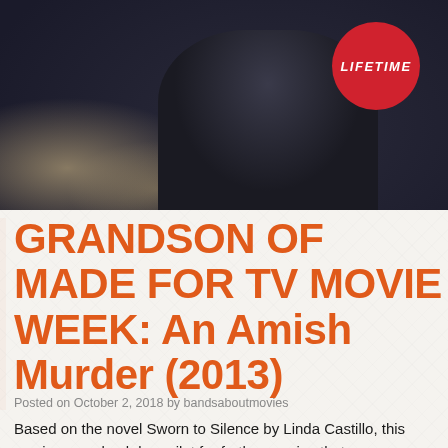[Figure (photo): A blurry outdoor scene showing a person in a dark jacket/hoodie with a red Lifetime network circular badge/logo in the upper right corner of the image.]
GRANDSON OF MADE FOR TV MOVIE WEEK: An Amish Murder (2013)
Posted on October 2, 2018 by bandsaboutmovies
Based on the novel Sworn to Silence by Linda Castillo, this movie was a backdoor pilot for further movies that was